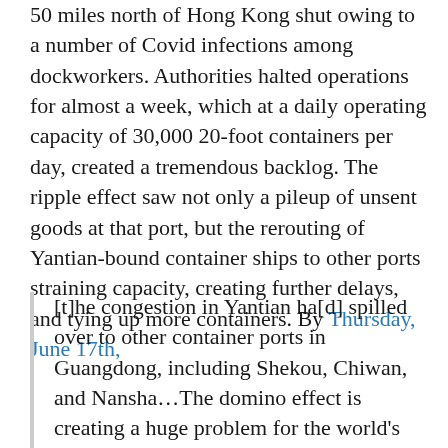50 miles north of Hong Kong shut owing to a number of Covid infections among dockworkers. Authorities halted operations for almost a week, which at a daily operating capacity of 30,000 20-foot containers per day, created a tremendous backlog. The ripple effect saw not only a pileup of unsent goods at that port, but the rerouting of Yantian-bound container ships to other ports straining capacity, creating further delays, and tying up more containers. By Thursday, June 17th,
[t]he congestion in Yantian ha[d] spilled over to other container ports in Guangdong, including Shekou, Chiwan, and Nansha…The domino effect is creating a huge problem for the world's shipping industry…As of Thursday, more than 50 container vessels were waiting to dock in Guangdong's Outer